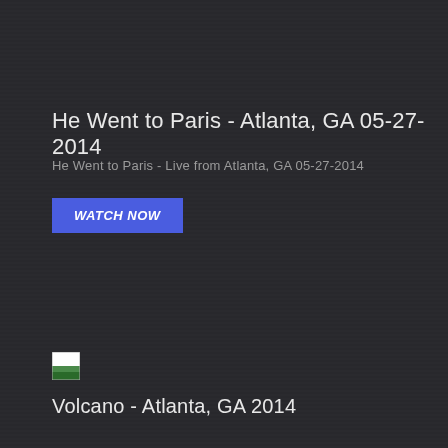He Went to Paris - Atlanta, GA 05-27-2014
He Went to Paris - Live from Atlanta, GA 05-27-2014
WATCH NOW
[Figure (photo): Small broken/partially loaded image thumbnail, approximately 28x28px, showing a partial green and white image]
Volcano - Atlanta, GA 2014